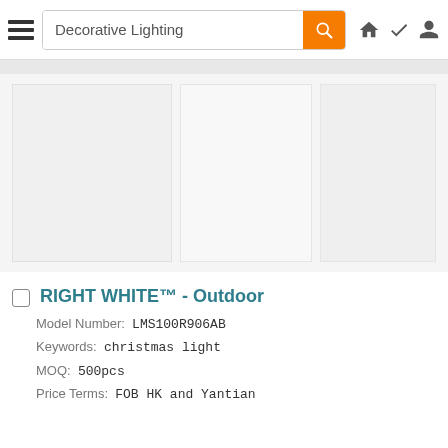Decorative Lighting
[Figure (screenshot): Product image gallery with 3 placeholder image slots]
RIGHT WHITE™ - Outdoor
Model Number: LMS100R906AB
Keywords: christmas light
MOQ: 500pcs
Price Terms: FOB HK and Yantian